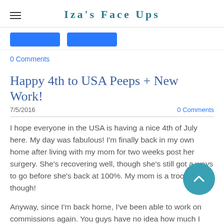Iza's Face Ups
[Figure (screenshot): Two blue buttons partially visible at the top of the content area]
0 Comments
Happy 4th to USA Peeps + New Work!
7/5/2016
0 Comments
I hope everyone in the USA is having a nice 4th of July here. My day was fabulous! I'm finally back in my own home after living with my mom for two weeks post her surgery. She's recovering well, though she's still got a ways to go before she's back at 100%. My mom is a trooper though!
Anyway, since I'm back home, I've been able to work on commissions again. You guys have no idea how much I missed working on dolls! This also means I'm open for commissions again.